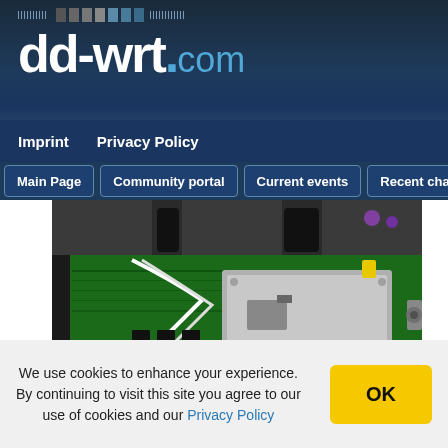[Figure (logo): dd-wrt.com logo with dot pattern above on dark blue background]
Imprint   Privacy Policy
Main Page   Community portal   Current events   Recent changes
[Figure (photo): Open router device showing green circuit board with chips, heat shield, wiring and components inside black plastic casing on wooden surface]
We use cookies to enhance your experience. By continuing to visit this site you agree to our use of cookies and our Privacy Policy